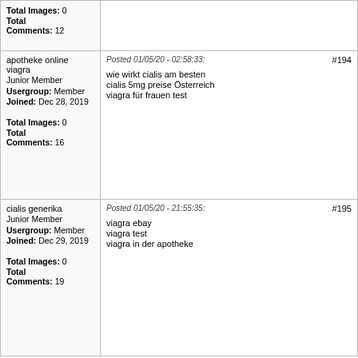| User | Post |
| --- | --- |
| Total Images: 0
Total Comments: 12 |  |
| apotheke online viagra
Junior Member
Usergroup: Member
Joined: Dec 28, 2019
Total Images: 0
Total Comments: 16 | Posted 01/05/20 - 02:58:33:
wie wirkt cialis am besten
cialis 5mg preise Österreich
viagra für frauen test
#194 |
| cialis generika
Junior Member
Usergroup: Member
Joined: Dec 29, 2019
Total Images: 0
Total Comments: 19 | Posted 01/05/20 - 21:55:35:
viagra ebay
viagra test
viagra in der apotheke
#195 |
Page: First 3 4 5 6 7 8 9 10 11 12 13 14 15 16 17 18 19 20 21 22 23 Last